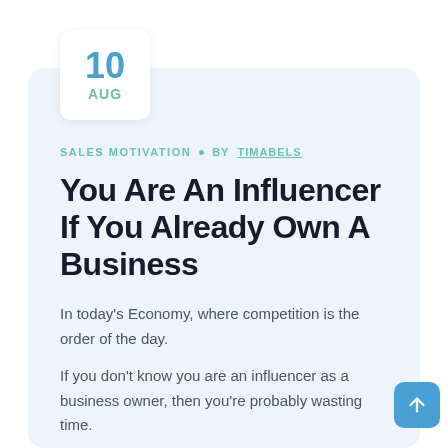10 AUG
SALES MOTIVATION • BY TIMABELS
You Are An Influencer If You Already Own A Business
In today's Economy, where competition is the order of the day.
If you don't know you are an influencer as a business owner, then you're probably wasting time.